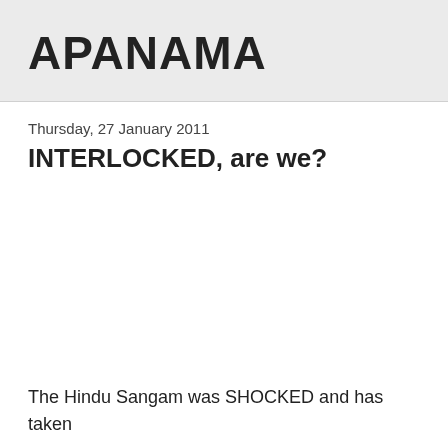APANAMA
Thursday, 27 January 2011
INTERLOCKED, are we?
The Hindu Sangam was SHOCKED and has taken